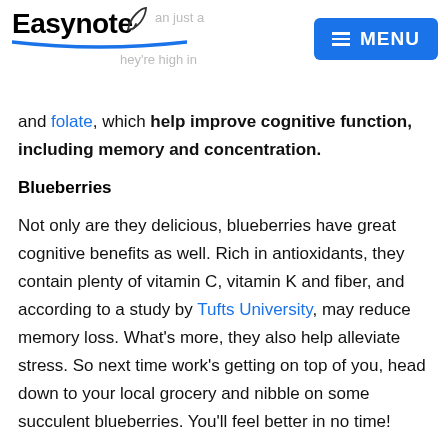Easynote [logo] | MENU
and folate, which help improve cognitive function, including memory and concentration.
Blueberries
Not only are they delicious, blueberries have great cognitive benefits as well. Rich in antioxidants, they contain plenty of vitamin C, vitamin K and fiber, and according to a study by Tufts University, may reduce memory loss. What's more, they also help alleviate stress. So next time work's getting on top of you, head down to your local grocery and nibble on some succulent blueberries. You'll feel better in no time!